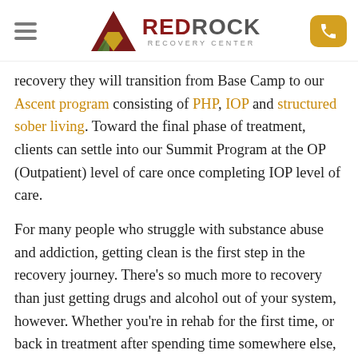Red Rock Recovery Center — logo and navigation header
recovery they will transition from Base Camp to our Ascent program consisting of PHP, IOP and structured sober living. Toward the final phase of treatment, clients can settle into our Summit Program at the OP (Outpatient) level of care once completing IOP level of care.
For many people who struggle with substance abuse and addiction, getting clean is the first step in the recovery journey. There’s so much more to recovery than just getting drugs and alcohol out of your system, however. Whether you’re in rehab for the first time, or back in treatment after spending time somewhere else, we take pride in offering a comprehensive experience at every